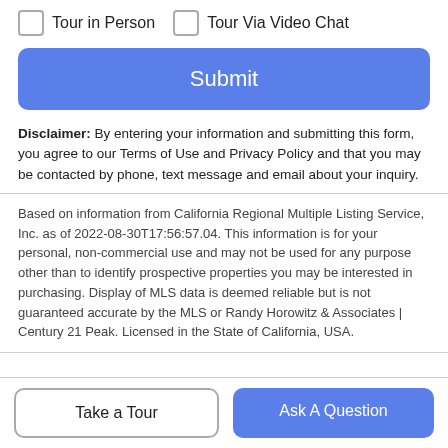Tour in Person
Tour Via Video Chat
Submit
Disclaimer: By entering your information and submitting this form, you agree to our Terms of Use and Privacy Policy and that you may be contacted by phone, text message and email about your inquiry.
Based on information from California Regional Multiple Listing Service, Inc. as of 2022-08-30T17:56:57.04. This information is for your personal, non-commercial use and may not be used for any purpose other than to identify prospective properties you may be interested in purchasing. Display of MLS data is deemed reliable but is not guaranteed accurate by the MLS or Randy Horowitz & Associates | Century 21 Peak. Licensed in the State of California, USA.
Take a Tour
Ask A Question